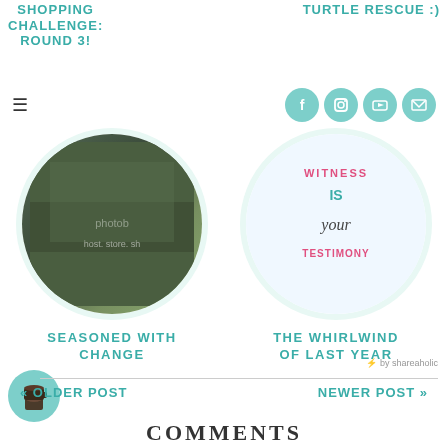SHOPPING CHALLENGE: ROUND 3!
TURTLE RESCUE :)
[Figure (screenshot): Hamburger menu icon (three horizontal lines)]
[Figure (infographic): Social media icons: Facebook, Instagram, YouTube, Email in teal circles]
[Figure (photo): Circular photo of a photobooth/store front with text 'photo', 'host. store. sh']
SEASONED WITH CHANGE
[Figure (illustration): Circular image with text 'WITNESS IS your TESTIMONY']
THE WHIRLWIND OF LAST YEAR
⚡ by shareaholic
« OLDER POST
NEWER POST »
COMMENTS